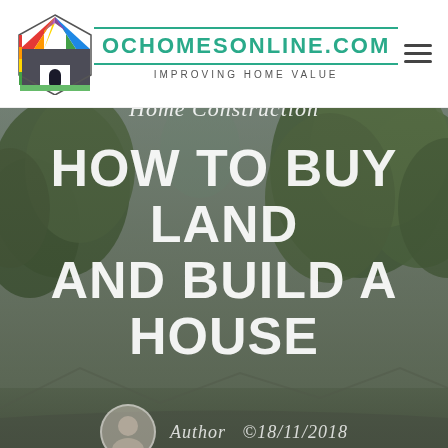[Figure (logo): Colorful house-shaped logo with rainbow colors and a dark doorway]
OCHOMESONLINE.COM
IMPROVING HOME VALUE
[Figure (photo): Outdoor scene with overcast grey sky and large green trees, muted tones with dark overlay]
Home Construction
HOW TO BUY LAND AND BUILD A HOUSE
Author   18/11/2018